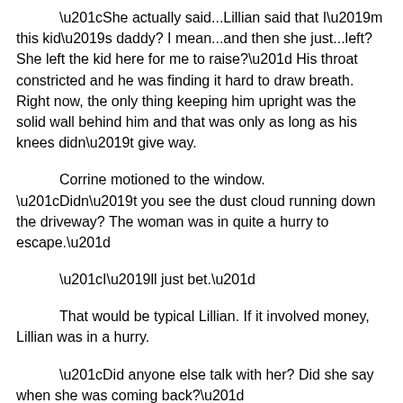“She actually said...Lillian said that I’m this kid’s daddy? I mean...and then she just...left? She left the kid here for me to raise?” His throat constricted and he was finding it hard to draw breath. Right now, the only thing keeping him upright was the solid wall behind him and that was only as long as his knees didn’t give way.
Corrine motioned to the window. “Didn’t you see the dust cloud running down the driveway? The woman was in quite a hurry to escape.”
“I’ll just bet.”
That would be typical Lillian. If it involved money, Lillian was in a hurry.
“Did anyone else talk with her? Did she say when she was coming back?”
“Nope, and with all the commotion today, no one would have noticed her, anyway. I came into the house to check on the lemon pies and she was just there sitting at the kitchen table like the rest of the chairs. I have